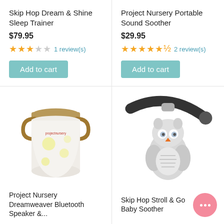Skip Hop Dream & Shine Sleep Trainer
$79.95
★★★☆☆  1 review(s)
Add to cart
Project Nursery Portable Sound Soother
$29.95
★★★★★½  2 review(s)
Add to cart
[Figure (photo): Project Nursery Dreamweaver Bluetooth Speaker - white jar-shaped device with gold lid and handles, glowing yellow dots]
Project Nursery Dreamweaver Bluetooth Speaker &...
[Figure (photo): Skip Hop Stroll & Go portable Baby Soother - white owl-shaped device clipped to stroller bar]
Skip Hop Stroll & Go Portable Baby Soother